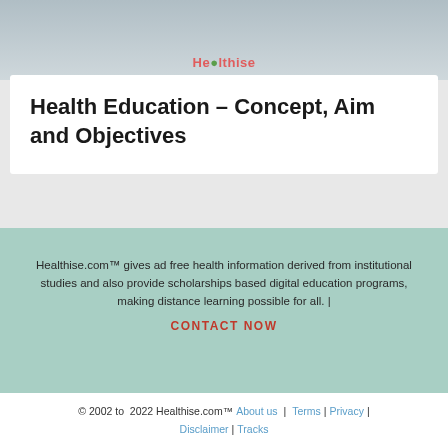[Figure (photo): Top portion of a webpage showing a photo of people (healthcare/education context) with the Healthise logo overlaid]
Health Education – Concept, Aim and Objectives
Healthise.com™ gives ad free health information derived from institutional studies and also provide scholarships based digital education programs, making distance learning possible for all.  |
CONTACT NOW
© 2002 to  2022 Healthise.com™ About us | Terms | Privacy | Disclaimer | Tracks